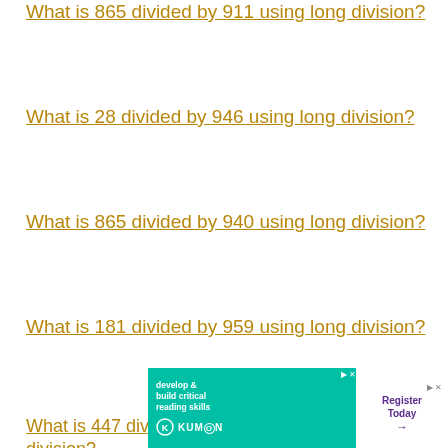What is 865 divided by 911 using long division?
What is 28 divided by 946 using long division?
What is 865 divided by 940 using long division?
What is 181 divided by 959 using long division?
What is 447 divided by 675 using long division?
What is ... divided by ... using long division?
[Figure (screenshot): Kumon advertisement banner: 'develop & build critical reading skills' with Register Today button]